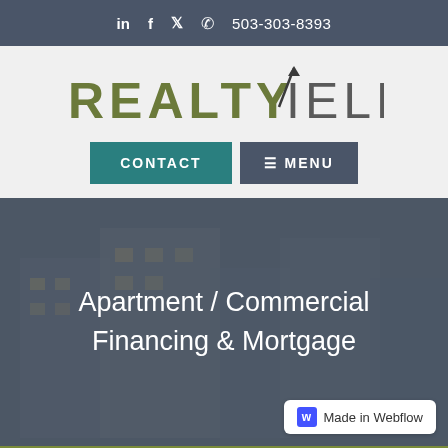503-303-8393
[Figure (logo): RealtyYield logo with stylized arrow between REALTY and YIELD text]
CONTACT
≡ MENU
[Figure (photo): Hero image of apartment/commercial building with semi-transparent dark overlay]
Apartment / Commercial Financing & Mortgage
Made in Webflow